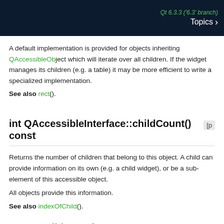Qt 6.3.3 ('6.3' branch) Topics
A default implementation is provided for objects inheriting QAccessibleObject which will iterate over all children. If the widget manages its children (e.g. a table) it may be more efficient to write a specialized implementation.
See also rect().
int QAccessibleInterface::childCount() const
Returns the number of children that belong to this object. A child can provide accessible information on its own (e.g. a child widget), or be a sub-element of this accessible object.
All objects provide this information.
See also indexOf Child().
QAccessibleInterface *QAccessibleInterface::focusChild() const